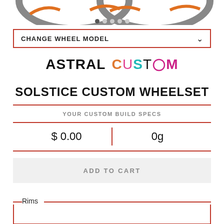[Figure (photo): Partial view of bicycle wheel rims at the top of the page]
[Figure (other): Five navigation dots, first dot active/dark, others light gray]
CHANGE WHEEL MODEL
[Figure (logo): ASTRAL CUSTOM logo: ASTRAL in bold black, CUSTOM in multicolor letters (C=orange, U=pink, S=teal, T=dark, O=pink circle, M=magenta)]
SOLSTICE CUSTOM WHEELSET
YOUR CUSTOM BUILD SPECS
$ 0.00
0g
ADD TO CART
Rims